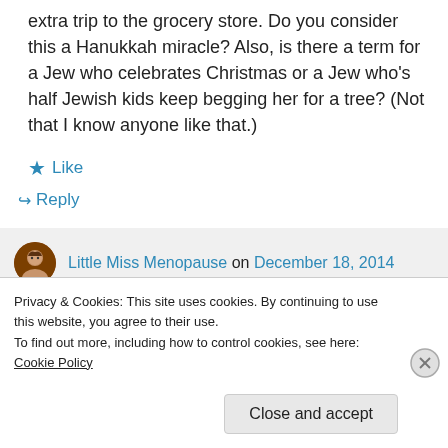extra trip to the grocery store. Do you consider this a Hanukkah miracle? Also, is there a term for a Jew who celebrates Christmas or a Jew who's half Jewish kids keep begging her for a tree? (Not that I know anyone like that.)
★ Like
↪ Reply
Little Miss Menopause on December 18, 2014
Privacy & Cookies: This site uses cookies. By continuing to use this website, you agree to their use.
To find out more, including how to control cookies, see here: Cookie Policy
Close and accept